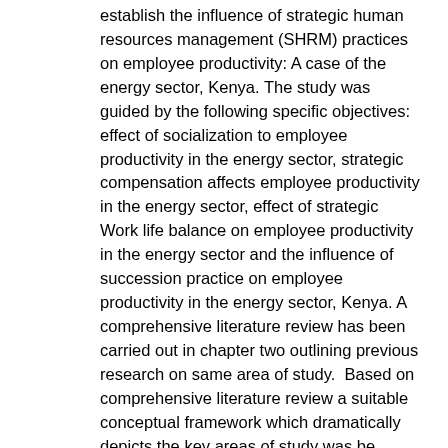establish the influence of strategic human resources management (SHRM) practices on employee productivity: A case of the energy sector, Kenya. The study was guided by the following specific objectives: effect of socialization to employee productivity in the energy sector, strategic compensation affects employee productivity in the energy sector, effect of strategic Work life balance on employee productivity in the energy sector and the influence of succession practice on employee productivity in the energy sector, Kenya. A comprehensive literature review has been carried out in chapter two outlining previous research on same area of study.  Based on comprehensive literature review a suitable conceptual framework which dramatically depicts the key areas of study was be developed. This conceptual framework outlines the independent variables (socialization, strategic compensation, and strategic Work life balance and succession practice) and dependent variables (employee productivity in the energy sector). The study adopted a descriptive survey design. The total population is 8 firms in the energy sector which has 1250 employees, but the study target population includes human resource department, top management and operation level management, the sample size was 10% of the target population which was 125 respondents. The study relied on primary data collected through administering a structured questionnaire comprising closed and open-ended questions. The data was...